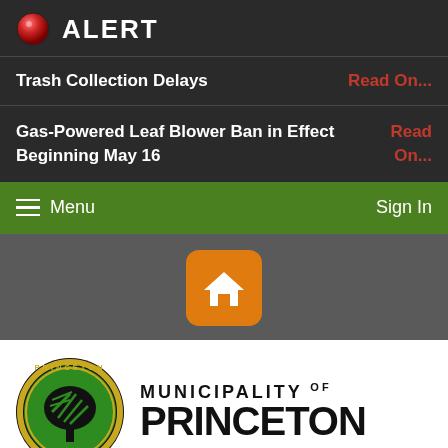ALERT
Trash Collection Delays   Read On...
Gas-Powered Leaf Blower Ban in Effect Beginning May 16   Read On...
Menu   Sign In
[Figure (logo): Princeton Municipality home button icon (orange rounded square with white house icon)]
[Figure (logo): Municipality of Princeton New Jersey official seal logo - circular black border with green tree, and text MUNICIPALITY OF PRINCETON beside it]
Select Language